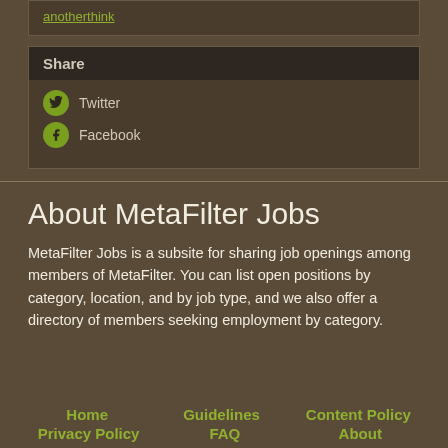anotherthink
Share
Twitter
Facebook
About MetaFilter Jobs
MetaFilter Jobs is a subsite for sharing job openings among members of MetaFilter. You can list open positions by category, location, and by job type, and we also offer a directory of members seeking employment by category.
Home   Guidelines   Content Policy   Privacy Policy   FAQ   About